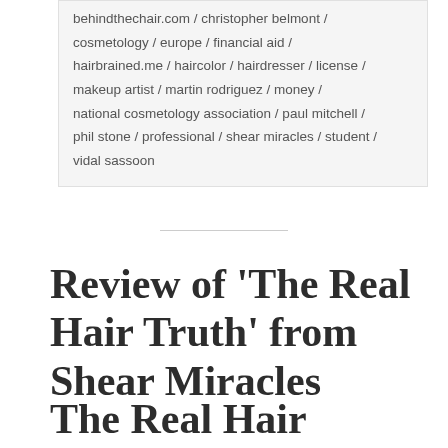behindthechair.com / christopher belmont / cosmetology / europe / financial aid / hairbrained.me / haircolor / hairdresser / license / makeup artist / martin rodriguez / money / national cosmetology association / paul mitchell / phil stone / professional / shear miracles / student / vidal sassoon
Review of 'The Real Hair Truth' from Shear Miracles
The Real Hair Truth,